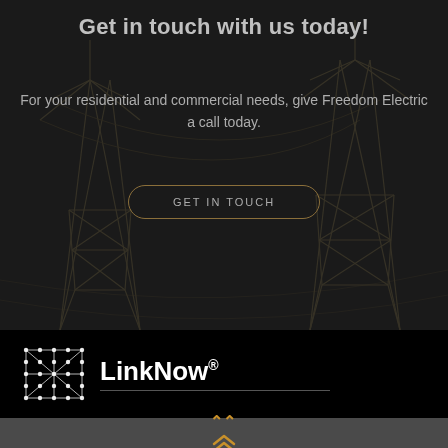Get in touch with us today!
For your residential and commercial needs, give Freedom Electric a call today.
GET IN TOUCH
[Figure (logo): LinkNow logo with geometric dot-and-line icon on black background with underline]
↑↑ (scroll to top chevron)